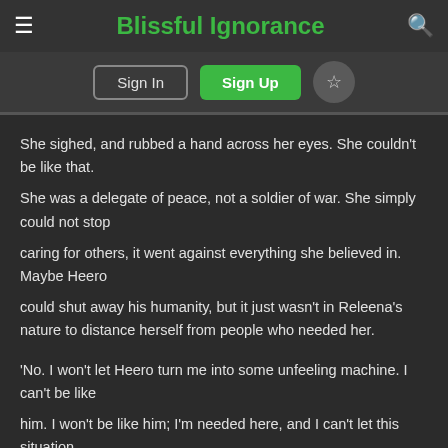Blissful Ignorance
Sign In  Sign Up  ☆
She sighed, and rubbed a hand across her eyes.  She couldn't be like that.
She was a delegate of peace, not a soldier of war.  She simply could not stop
caring for others, it went against everything she believed in.  Maybe Heero
could shut away his humanity, but it just wasn't in Releena's nature to distance herself  from people who needed her.

'No.  I won't let Heero turn me into some unfeeling machine.  I can't be like
him.  I won't be like him; I'm needed here, and I can't let this situation